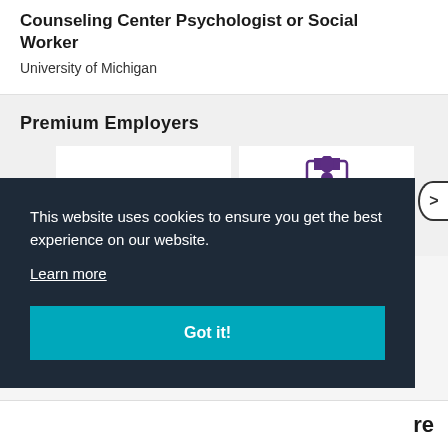Counseling Center Psychologist or Social Worker
University of Michigan
Premium Employers
[Figure (logo): CSM College of Southern Maryland logo with yellow diamond shape and swoosh]
[Figure (logo): Tennessee Tech university logo in purple with torch emblem]
This website uses cookies to ensure you get the best experience on our website.
Learn more
Got it!
re